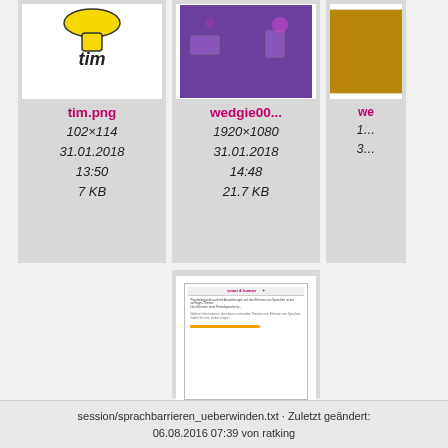[Figure (screenshot): File browser grid view showing image thumbnails with filenames and metadata. Row 1: tim.png (102×114, 31.01.2018 13:50, 7 KB), wedgie00... (1920×1080, 31.01.2018 14:48, 21.7 KB), wedgie0... (partially visible). Row 2: wedgie03... (1920×1080, 31.01.2018 14:49, 175.4 KB).]
session/sprachbarrieren_ueberwinden.txt · Zuletzt geändert: 06.08.2016 07:39 von ratking